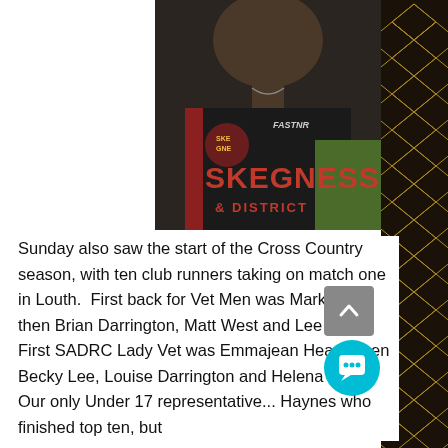[Figure (photo): Close-up photo of a person wearing a black Skegness & District running club vest/singlet. The word SKEGNESS is visible in large orange-red text on the black jersey. The brand 'FASTNR' is visible on the shoulder area.]
Sunday also saw the start of the Cross Country season, with ten club runners taking on match one in Louth.  First back for Vet Men was Mark Lyon, then Brian Darrington, Matt West and Lee Cook. First SADRC Lady Vet was Emmajean Hearn, then Becky Lee, Louise Darrington and Helena She... Our only Under 17 representative... Haynes who finished top ten, but